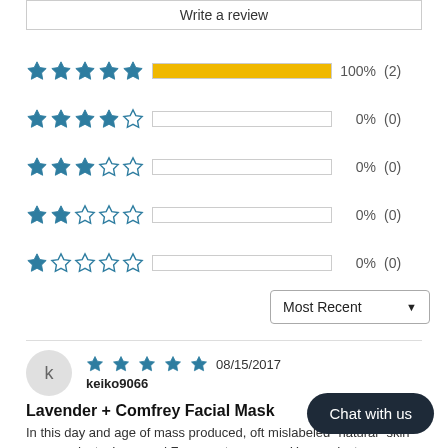Write a review
[Figure (infographic): Star rating distribution bars. 5-star: 100% (2), 4-star: 0% (0), 3-star: 0% (0), 2-star: 0% (0), 1-star: 0% (0).]
Most Recent ▼
k  ★★★★★  08/15/2017  keiko9066
Lavender + Comfrey Facial Mask
In this day and age of mass produced, oft mislabeled "natural" skin care products, Irene and Fa… are true gems. Her products are pure bli… and soothing mask is a real treat to use a… feel like silk. Sublime.